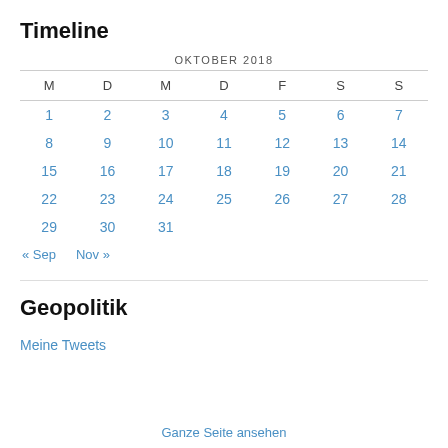Timeline
| M | D | M | D | F | S | S |
| --- | --- | --- | --- | --- | --- | --- |
| 1 | 2 | 3 | 4 | 5 | 6 | 7 |
| 8 | 9 | 10 | 11 | 12 | 13 | 14 |
| 15 | 16 | 17 | 18 | 19 | 20 | 21 |
| 22 | 23 | 24 | 25 | 26 | 27 | 28 |
| 29 | 30 | 31 |  |  |  |  |
« Sep   Nov »
Geopolitik
Meine Tweets
Ganze Seite ansehen